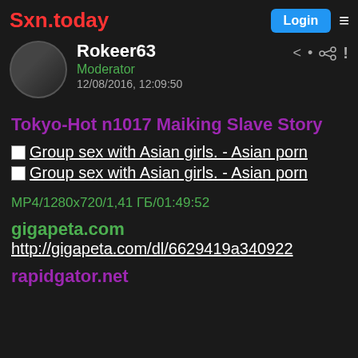Sxn.today
Rokeer63
Moderator
12/08/2016, 12:09:50
Tokyo-Hot n1017 Maiking Slave Story
[Figure (other): Thumbnail image link: Group sex with Asian girls. - Asian porn]
[Figure (other): Thumbnail image link: Group sex with Asian girls. - Asian porn]
MP4/1280x720/1,41 ГБ/01:49:52
gigapeta.com
http://gigapeta.com/dl/6629419a340922
rapidgator.net